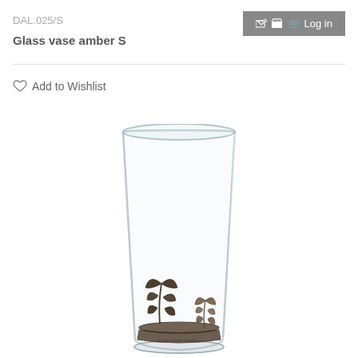DAL.025/S
Glass vase amber S
Log in
Add to Wishlist
[Figure (photo): A clear glass vase with a tapered/hurricane shape, featuring decorative dark bronze/pewter floral leaf motifs at the base inside the vase. The vase has a wide opening at the top narrowing toward the bottom.]